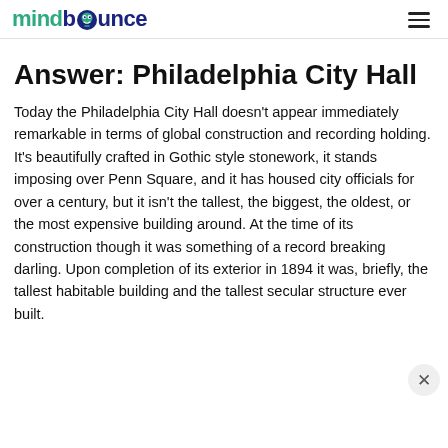mindbounce
Answer: Philadelphia City Hall
Today the Philadelphia City Hall doesn't appear immediately remarkable in terms of global construction and recording holding. It's beautifully crafted in Gothic style stonework, it stands imposing over Penn Square, and it has housed city officials for over a century, but it isn't the tallest, the biggest, the oldest, or the most expensive building around. At the time of its construction though it was something of a record breaking darling. Upon completion of its exterior in 1894 it was, briefly, the tallest habitable building and the tallest secular structure ever built.